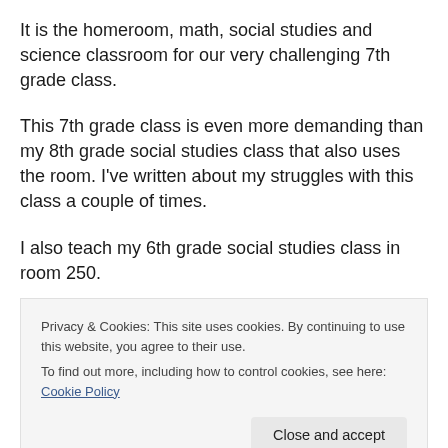It is the homeroom, math, social studies and science classroom for our very challenging 7th grade class.
This 7th grade class is even more demanding than my 8th grade social studies class that also uses the room. I've written about my struggles with this class a couple of times.
I also teach my 6th grade social studies class in room 250.
A teacher from outside our academy also uses the same room to teach the blended non-Regents Exam taking 8th
Privacy & Cookies: This site uses cookies. By continuing to use this website, you agree to their use.
To find out more, including how to control cookies, see here: Cookie Policy
Close and accept